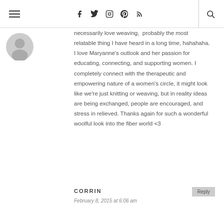Navigation header with hamburger menu, social icons (Facebook, Twitter, Instagram, Pinterest, RSS), and search
necessarily love weaving,  probably the most relatable thing I have heard in a long time, hahahaha. I love Maryanne's outlook and her passion for educating, connecting, and supporting women. I completely connect with the therapeutic and empowering nature of a women's circle, it might look like we're just knitting or weaving, but in reality ideas are being exchanged, people are encouraged, and stress in relieved. Thanks again for such a wonderful woolful look into the fiber world <3
CORRIN
February 8, 2015 at 6:06 am